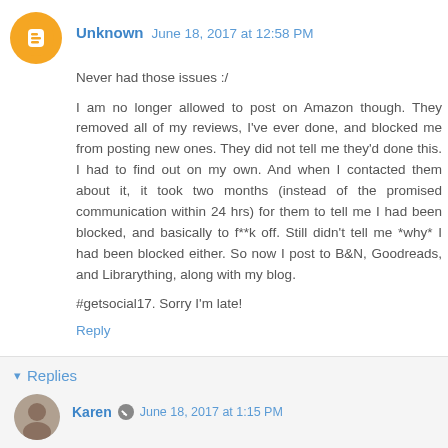Unknown June 18, 2017 at 12:58 PM
Never had those issues :/
I am no longer allowed to post on Amazon though. They removed all of my reviews, I've ever done, and blocked me from posting new ones. They did not tell me they'd done this. I had to find out on my own. And when I contacted them about it, it took two months (instead of the promised communication within 24 hrs) for them to tell me I had been blocked, and basically to f**k off. Still didn't tell me *why* I had been blocked either. So now I post to B&N, Goodreads, and Librarything, along with my blog.
#getsocial17. Sorry I'm late!
Reply
Replies
Karen June 18, 2017 at 1:15 PM